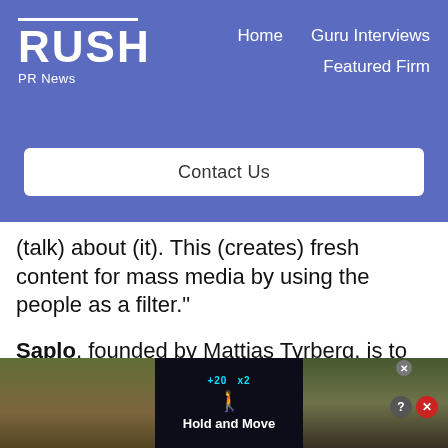RUSH PR News | Home | Guru Interviews | Featured Firm | Contact Us
(talk) about (it). This (creates) fresh content for mass media by using the people as a filter."
Saplo, founded by Mattias Tyrberg, is to Swedes what Skype is to bloggers in North America. He recently won the Young Entrepreneur of the Year award, boasting Saplo’s inception is
[Figure (screenshot): Advertisement overlay at bottom of page showing a mobile game screenshot with 'Hold and Move' text, score display, and close/help buttons]